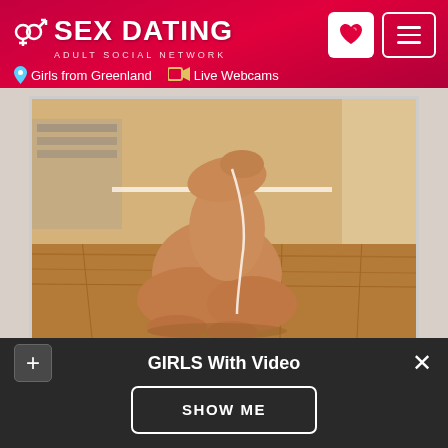SEX DATING - ADULT SOCIAL NETWORK
Girls from Greenland   Live Webcams
[Figure (photo): Person sitting on a wooden floor, nude, photographed from behind/side, facing away from camera, with earphone cord visible]
GIRLS With Video
SHOW ME